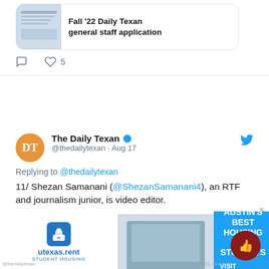[Figure (screenshot): Partial Twitter card with link to 'Fall '22 Daily Texan general staff application', showing comment and heart/like icons with count 5]
[Figure (screenshot): Tweet from The Daily Texan (@thedailytexan) on Aug 17, replying to @thedailytexan. Text: '11/ Shezan Samanani (@ShezanSamanani4), an RTF and journalism junior, is video editor. Carly Rose (@carlyydrose), a journalism senior, is audio editor.' With two attached images showing colorful umbrellas and a building/trees.]
[Figure (screenshot): Advertisement banner for utexas.rent Student Housing: 'Austin's Best Housing for Students — Visit utexas.rent']